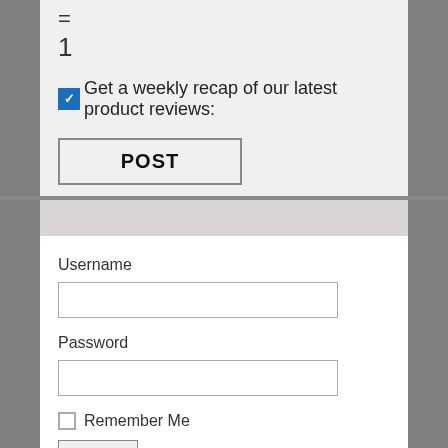=
1
Get a weekly recap of our latest product reviews:
POST
Username
Password
Remember Me